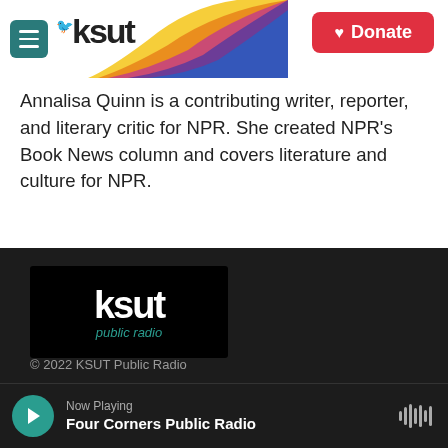KSUT — Donate
Annalisa Quinn is a contributing writer, reporter, and literary critic for NPR. She created NPR's Book News column and covers literature and culture for NPR.
See stories by Annalisa Quinn
[Figure (logo): KSUT Public Radio logo on black background with teal cursive 'public radio' subtitle]
© 2022 KSUT Public Radio
Now Playing — Four Corners Public Radio